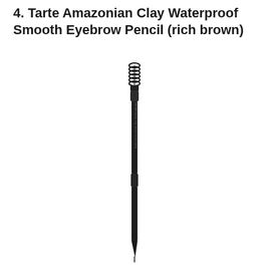4. Tarte Amazonian Clay Waterproof Smooth Eyebrow Pencil (rich brown)
[Figure (photo): A dual-ended eyebrow pencil with a spoolie brush on top and a fine pencil tip at the bottom. The pencil is dark/black in color with text on the barrel reading 'tarte Amazonian clay waterproof brow pencil'. The product is shown vertically oriented against a white background.]